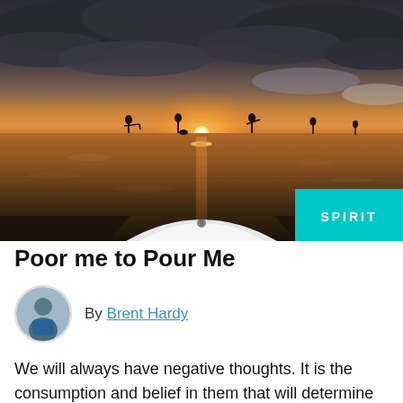[Figure (photo): Sunset paddle board scene viewed from the nose of a paddleboard. Several people standing on paddleboards are silhouetted against a vivid orange and pink sunset reflecting on calm water. Dark cloudy sky above, calm sea below. A cyan 'SPIRIT' badge overlays the bottom-right corner of the image.]
Poor me to Pour Me
By Brent Hardy
We will always have negative thoughts. It is the consumption and belief in them that will determine our